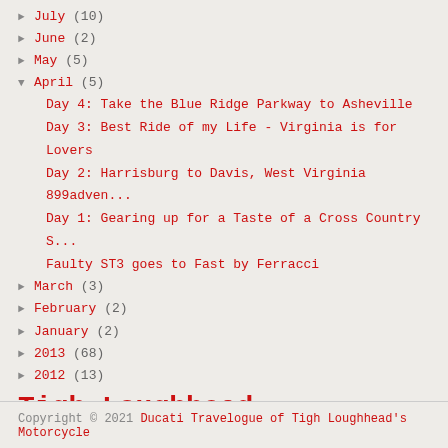► July (10)
► June (2)
► May (5)
▼ April (5)
Day 4: Take the Blue Ridge Parkway to Asheville
Day 3: Best Ride of my Life - Virginia is for Lovers
Day 2: Harrisburg to Davis, West Virginia 899adven...
Day 1: Gearing up for a Taste of a Cross Country S...
Faulty ST3 goes to Fast by Ferracci
► March (3)
► February (2)
► January (2)
► 2013 (68)
► 2012 (13)
Tigh Loughhead
[Figure (photo): Profile photo of Tigh Loughhead, a man in a jacket holding a phone, photographed in dark lighting]
Tigh Loughhead
View my complete profile
Copyright © 2021 Ducati Travelogue of Tigh Loughhead's Motorcycle